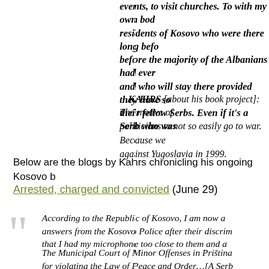events, to visit churches. To with my own body… residents of Kosovo who were there long before… before the majority of the Albanians had ever… and who will stay there provided they have so… their fellow Serbs. Even if it's a Serb who was…
…KAHRS [about his book project]: The motive of… politicians to not so easily go to war. Because we… against Yugoslavia in 1999.
Below are the blogs by Kahrs chronicling his ongoing Kosovo b…
Arrested, charged and convicted (June 29)
According to the Republic of Kosovo, I am now a… answers from the Kosovo Police after their discrim… that I had my microphone too close to them and a…
The Municipal Court of Minor Offenses in Priština… for violating the Law of Peace and Order…[A Serb…